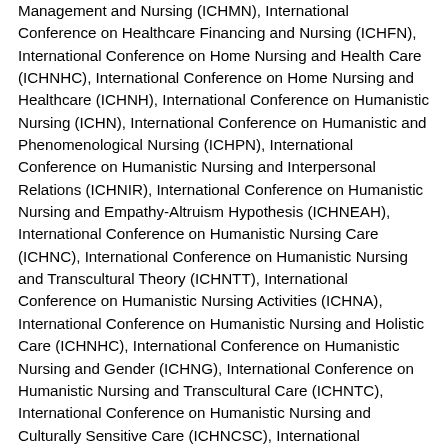Management and Nursing (ICHMN), International Conference on Healthcare Financing and Nursing (ICHFN), International Conference on Home Nursing and Health Care (ICHNHC), International Conference on Home Nursing and Healthcare (ICHNH), International Conference on Humanistic Nursing (ICHN), International Conference on Humanistic and Phenomenological Nursing (ICHPN), International Conference on Humanistic Nursing and Interpersonal Relations (ICHNIR), International Conference on Humanistic Nursing and Empathy-Altruism Hypothesis (ICHNEAH), International Conference on Humanistic Nursing Care (ICHNC), International Conference on Humanistic Nursing and Transcultural Theory (ICHNTT), International Conference on Humanistic Nursing Activities (ICHNA), International Conference on Humanistic Nursing and Holistic Care (ICHNHC), International Conference on Humanistic Nursing and Gender (ICHNG), International Conference on Humanistic Nursing and Transcultural Care (ICHNTC), International Conference on Humanistic Nursing and Culturally Sensitive Care (ICHNCSC), International Conference on Humanistic Nursing Theory and Phenomenological Nursing (ICHNTPN), International Conference on Humanistic Nursing Theory and Interpersonal Relations (ICHNTIR), International Conference on Humanistic Nursing Theory and Empathy-Altruism Hypothesis (ICHNTEAH), International Conference on Humanistic Nursing Theory and Humanistic Care (ICHNTHC),